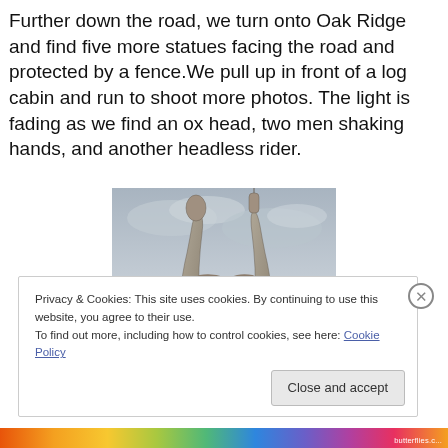Further down the road, we turn onto Oak Ridge and find five more statues facing the road and protected by a fence.We pull up in front of a log cabin and run to shoot more photos. The light is fading as we find an ox head, two men shaking hands, and another headless rider.
[Figure (photo): Photograph of two tall, abstract humanoid sculptures holding hands against a cloudy grey sky. The figures appear to be made of stone or wood, elongated and stylized, depicted shaking/holding hands in the middle.]
Privacy & Cookies: This site uses cookies. By continuing to use this website, you agree to their use.
To find out more, including how to control cookies, see here: Cookie Policy
Close and accept